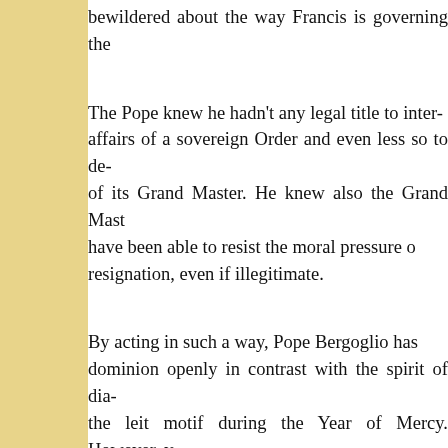bewildered about the way Francis is governing the
The Pope knew he hadn't any legal title to inter- affairs of a sovereign Order and even less so to de- of its Grand Master. He knew also the Grand Mast have been able to resist the moral pressure o resignation, even if illegitimate.
By acting in such a way, Pope Bergoglio has dominion openly in contrast with the spirit of dia the leit motif during the Year of Mercy. However, v that the intervention took place “to punish” the which is the most faithful to the immutable Magis and support instead, the secularist wing, which wo the Knights of Malta into a humanitarian NG condoms and abortificants “for good reasons”. victim appears to be the Cardinal Patron, Raymond